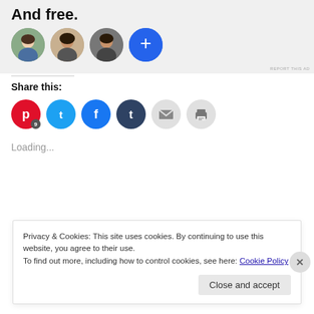[Figure (illustration): Advertisement banner with bold heading 'And free.' and four circular avatar images including a blue plus button, on a light grey background. REPORT THIS AD text in bottom right.]
Share this:
[Figure (infographic): Row of social share icon buttons: Pinterest (red, with badge 9), Twitter (blue), Facebook (blue), Tumblr (dark blue), Email (grey), Print (grey)]
Loading...
Privacy & Cookies: This site uses cookies. By continuing to use this website, you agree to their use.
To find out more, including how to control cookies, see here: Cookie Policy
Close and accept